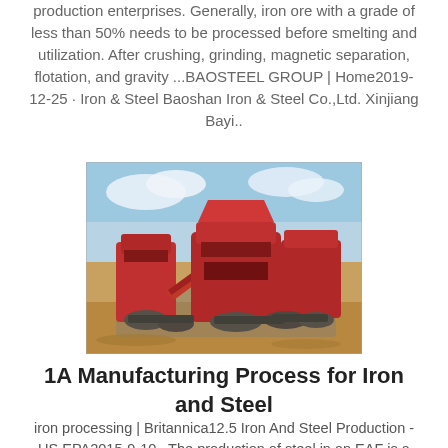production enterprises. Generally, iron ore with a grade of less than 50% needs to be processed before smelting and utilization. After crushing, grinding, magnetic separation, flotation, and gravity ...BAOSTEEL GROUP | Home2019-12-25 · Iron & Steel Baoshan Iron & Steel Co.,Ltd. Xinjiang Bayi..
[Figure (photo): Outdoor photograph of large red and grey industrial mining/crushing machinery on a dirt ground with a blue sky and clouds in the background.]
1A Manufacturing Process for Iron and Steel
iron processing | Britannica12.5 Iron And Steel Production - US EPA2015-9-10 · The production of steel in an EAF is a batch process. Cycles, or "heats", range from